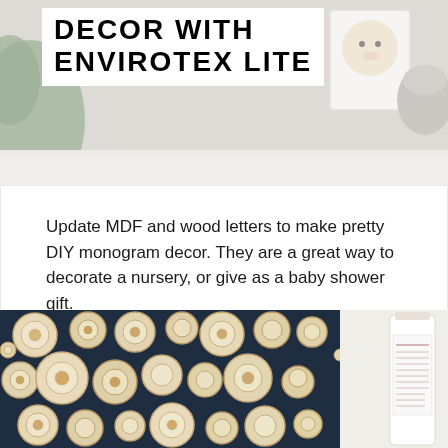[Figure (photo): Top photo showing DIY monogram decor with Envirotex Lite — a white background scene with decorated letters/frames, partially obscured by title overlay. Title overlay reads 'DECOR WITH ENVIROTEX LITE'.]
DECOR WITH ENVIROTEX LITE
Update MDF and wood letters to make pretty DIY monogram decor. They are a great way to decorate a nursery, or give as a baby shower gift.
[Figure (photo): Bottom photo showing a tray filled with round wood slice discs of various sizes arranged closely together, with a product bottle (Envirotex Lite) visible on the right side.]